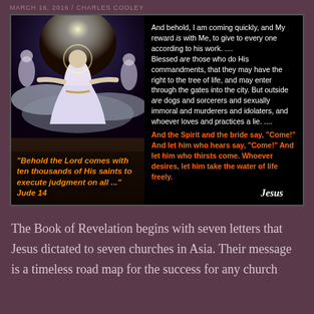MARCH 16, 2016 / CHARLES COOLEY
[Figure (illustration): Black background composite image. Left side: painting of Jesus in white robes ascending with angels, with orange italic text overlay: '"Behold the Lord comes with ten thousands of His saints to execute judgment on all ..." Jude 14'. Right side on black background: white text Bible verses from Revelation 22, then orange text 'And the Spirit and the bride say, "Come!" And let him who hears say, "Come!" And let him who thirsts come. Whoever desires, let him take the water of life freely.' followed by italic white signature 'Jesus'.]
The Book of Revelation begins with seven letters that Jesus dictated to seven churches in Asia. Their message is a timeless road map for the success for any church